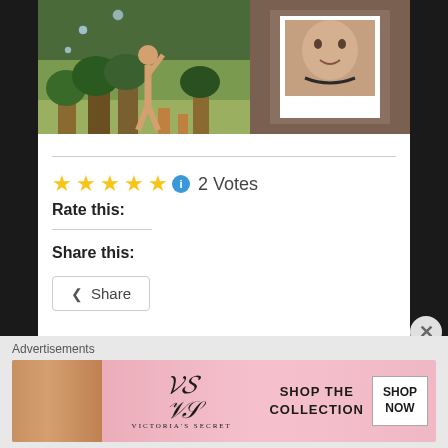[Figure (photo): Two photos side by side: left photo shows a child playing with bubbles outdoors near a pool with trees and potted plants in the background; right photo shows a polaroid-style image of a young person with a shaved head wearing a spiked collar necklace]
Rate this: ★★★★★ ℹ 2 Votes
Share this:
Share
Advertisements
[Figure (photo): Victoria's Secret advertisement banner with a model, VS logo, text 'SHOP THE COLLECTION', and a 'SHOP NOW' button]